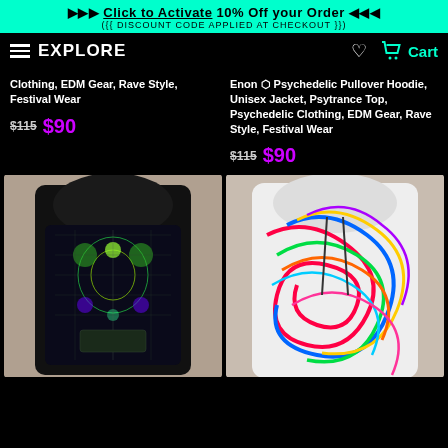▶▶▶ Click to Activate 10% Off your Order ◀◀◀
({{ DISCOUNT CODE APPLIED AT CHECKOUT }})
EXPLORE | Cart
Clothing, EDM Gear, Rave Style, Festival Wear
$115 $90
Enon ⬡ Psychedelic Pullover Hoodie, Unisex Jacket, Psytrance Top, Psychedelic Clothing, EDM Gear, Rave Style, Festival Wear
$115 $90
[Figure (photo): Psychedelic dark fractal pattern hoodie with green and purple glowing elements]
[Figure (photo): Colorful swirling rainbow pattern hoodie with multicolored wavy lines]